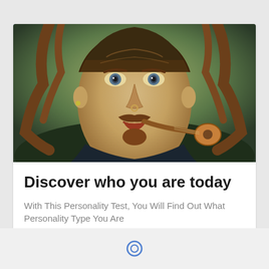[Figure (illustration): Stylized surreal painting of a man's face with wood-like features, a mustache, playing a small guitar/banjo, surrounded by organic vine-like elements and green foliage background]
Discover who you are today
With This Personality Test, You Will Find Out What Personality Type You Are
The Personality Lab